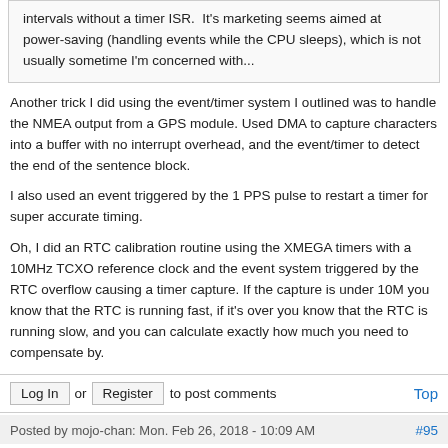intervals without a timer ISR.  It's marketing seems aimed at power-saving (handling events while the CPU sleeps), which is not usually sometime I'm concerned with...
Another trick I did using the event/timer system I outlined was to handle the NMEA output from a GPS module. Used DMA to capture characters into a buffer with no interrupt overhead, and the event/timer to detect the end of the sentence block.
I also used an event triggered by the 1 PPS pulse to restart a timer for super accurate timing.
Oh, I did an RTC calibration routine using the XMEGA timers with a 10MHz TCXO reference clock and the event system triggered by the RTC overflow causing a timer capture. If the capture is under 10M you know that the RTC is running fast, if it's over you know that the RTC is running slow, and you can calculate exactly how much you need to compensate by.
Log In or Register to post comments   Top
Posted by mojo-chan: Mon. Feb 26, 2018 - 10:09 AM   #95
Rammon is spot on.